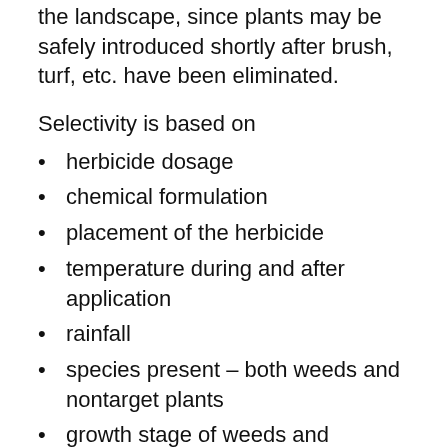the landscape, since plants may be safely introduced shortly after brush, turf, etc. have been eliminated.
Selectivity is based on
herbicide dosage
chemical formulation
placement of the herbicide
temperature during and after application
rainfall
species present – both weeds and nontarget plants
growth stage of weeds and desirable species
Recognizing Herbicide Injury
Leaf chlorosis, or yellow... f foliage, is a